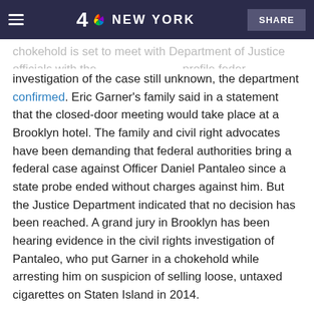4 NBC NEW YORK  SHARE
chokehold is set to meet with Department of Justice officials with the timeline of the federal probe into the investigation of the case still unknown, the department confirmed. Eric Garner's family said in a statement that the closed-door meeting would take place at a Brooklyn hotel. The family and civil right advocates have been demanding that federal authorities bring a federal case against Officer Daniel Pantaleo since a state probe ended without charges against him. But the Justice Department indicated that no decision has been reached. A grand jury in Brooklyn has been hearing evidence in the civil rights investigation of Pantaleo, who put Garner in a chokehold while arresting him on suspicion of selling loose, untaxed cigarettes on Staten Island in 2014.
They're Back! Numbers of Ticks are High Across New England